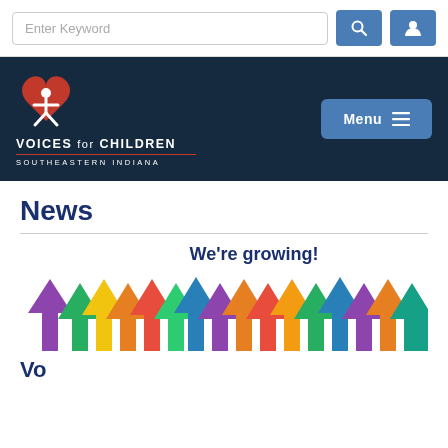Enter Keyword [search bar with search and user buttons]
[Figure (logo): Voices for Children Southeastern Indiana logo — red heart with white person figure, white text on dark navy background. Menu button top right.]
News
[Figure (illustration): We're growing! banner image with colorful upward-pointing arrows in purple, green, yellow, orange, red, blue colors.]
Vo...